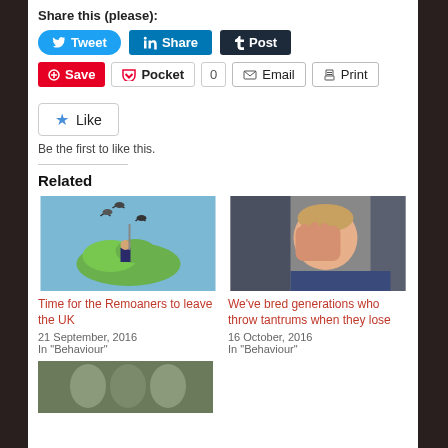Share this (please):
Tweet | Share | Post
Save | Pocket | 0 | Email | Print
Like
Be the first to like this.
Related
[Figure (illustration): Cartoon illustration of a man in a suit kneeling on a green island (UK map shape) in the sea, with dark birds flying above]
Time for the Remoaners to leave the UK
21 September, 2016
In "Behaviour"
[Figure (photo): Photo of a young blond child covering their face with their hand]
We've bred generations who throw tantrums when they lose
16 October, 2016
In "Behaviour"
[Figure (photo): Partial photo at bottom of page, cut off]